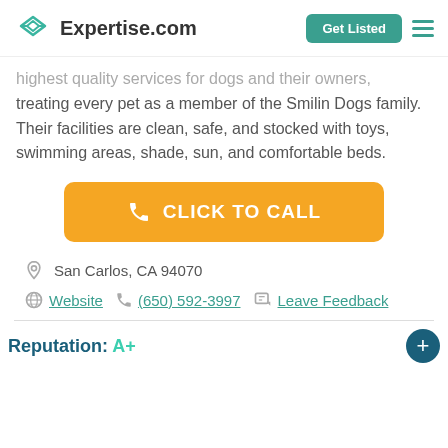Expertise.com | Get Listed
highest quality services for dogs and their owners, treating every pet as a member of the Smilin Dogs family. Their facilities are clean, safe, and stocked with toys, swimming areas, shade, sun, and comfortable beds.
[Figure (other): Orange button with phone icon and text CLICK TO CALL]
San Carlos, CA 94070
Website  (650) 592-3997  Leave Feedback
Reputation: A+